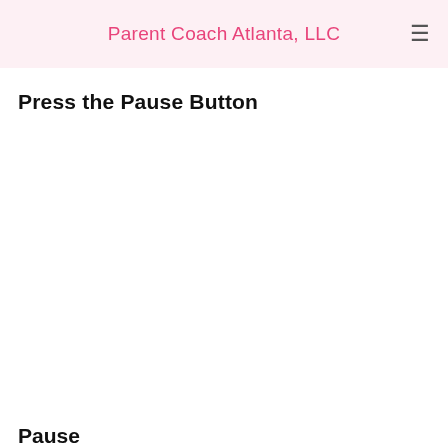Parent Coach Atlanta, LLC
Press the Pause Button
Pause